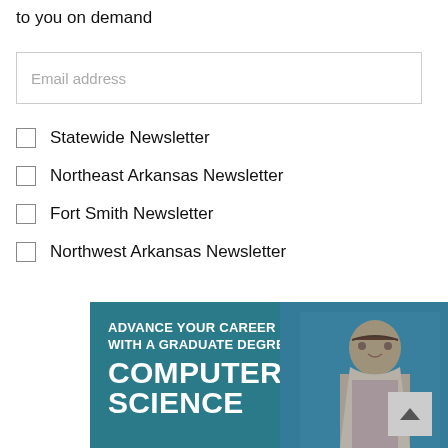to you on demand
Email address
Statewide Newsletter
Northeast Arkansas Newsletter
Fort Smith Newsletter
Northwest Arkansas Newsletter
Submit
[Figure (illustration): Advertisement banner for a graduate degree in Computer Science, showing a smiling man in a light pink shirt against a teal/blue background, with bold white text reading 'ADVANCE YOUR CAREER WITH A GRADUATE DEGREE IN COMPUTER SCIENCE']